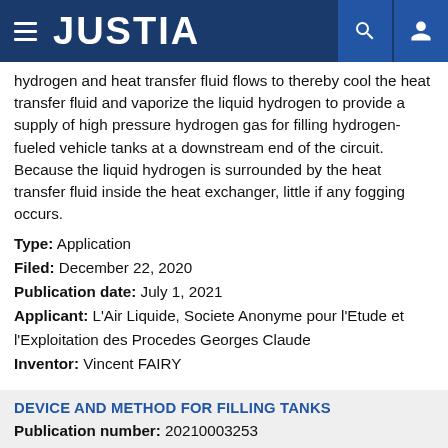JUSTIA
hydrogen and heat transfer fluid flows to thereby cool the heat transfer fluid and vaporize the liquid hydrogen to provide a supply of high pressure hydrogen gas for filling hydrogen-fueled vehicle tanks at a downstream end of the circuit. Because the liquid hydrogen is surrounded by the heat transfer fluid inside the heat exchanger, little if any fogging occurs.
Type: Application
Filed: December 22, 2020
Publication date: July 1, 2021
Applicant: L'Air Liquide, Societe Anonyme pour l'Etude et l'Exploitation des Procedes Georges Claude
Inventor: Vincent FAIRY
DEVICE AND METHOD FOR FILLING TANKS
Publication number: 20210003253
Abstract: Device and method for filling pressurized gas